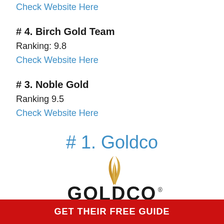Check Website Here
# 4. Birch Gold Team
Ranking: 9.8
Check Website Here
# 3. Noble Gold
Ranking 9.5
Check Website Here
# 1. Goldco
[Figure (logo): Goldco logo with golden flame/feather swoosh above bold GOLDCO text with registered trademark symbol]
GET THEIR FREE GUIDE